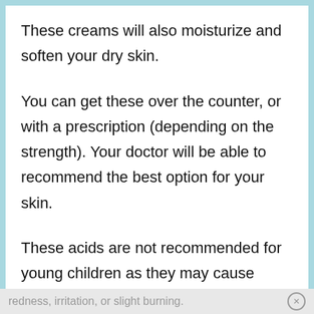These creams will also moisturize and soften your dry skin.
You can get these over the counter, or with a prescription (depending on the strength). Your doctor will be able to recommend the best option for your skin.
These acids are not recommended for young children as they may cause
redness, irritation, or slight burning.